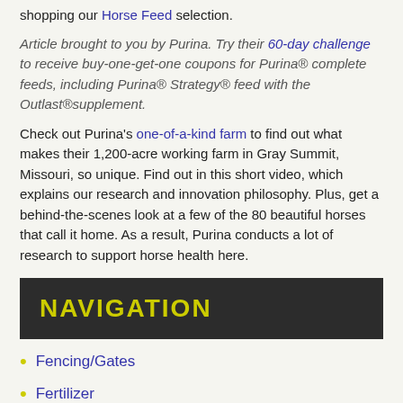shopping our Horse Feed selection.
Article brought to you by Purina. Try their 60-day challenge to receive buy-one-get-one coupons for Purina® complete feeds, including Purina® Strategy® feed with the Outlast®supplement.
Check out Purina's one-of-a-kind farm to find out what makes their 1,200-acre working farm in Gray Summit, Missouri, so unique. Find out in this short video, which explains our research and innovation philosophy. Plus, get a behind-the-scenes look at a few of the 80 beautiful horses that call it home. As a result, Purina conducts a lot of research to support horse health here.
NAVIGATION
Fencing/Gates
Fertilizer